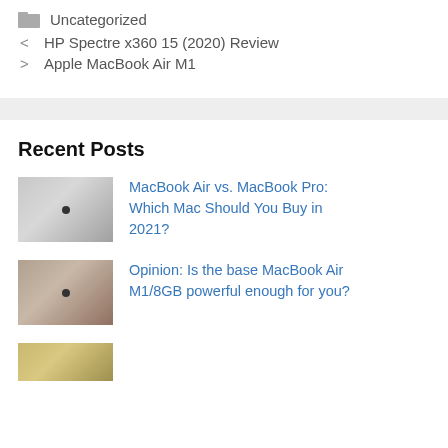Uncategorized
< HP Spectre x360 15 (2020) Review
> Apple MacBook Air M1
Recent Posts
MacBook Air vs. MacBook Pro: Which Mac Should You Buy in 2021?
Opinion: Is the base MacBook Air M1/8GB powerful enough for you?
Apple MacBook Pro (partial)